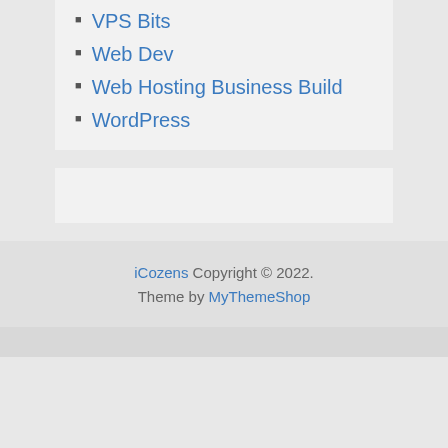VPS Bits
Web Dev
Web Hosting Business Build
WordPress
iCozens Copyright © 2022. Theme by MyThemeShop